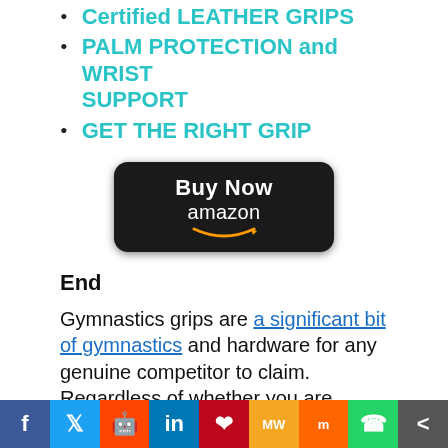Certified LEATHER GRIPS
PALM PROTECTION and WRIST SUPPORT
GET THE RIGHT GRIP
[Figure (other): Buy Now on Amazon button - black rounded rectangle with white 'Buy Now' text and amazon logo with orange smile arrow]
End
Gymnastics grips are a significant bit of gymnastics and hardware for any genuine competitor to claim. Regardless of whether you are participating in acrobatic, weightlifting, Crossfit, or any number of exercises, claiming a good pair of better grip
f  Twitter  Reddit  in  Pinterest  MW  Mix  WhatsApp  Share